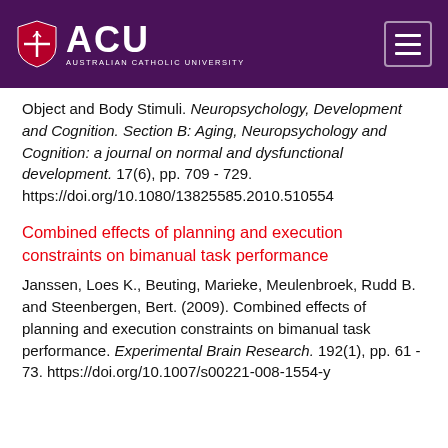[Figure (logo): ACU (Australian Catholic University) logo on purple header bar with hamburger menu button]
Object and Body Stimuli. Neuropsychology, Development and Cognition. Section B: Aging, Neuropsychology and Cognition: a journal on normal and dysfunctional development. 17(6), pp. 709 - 729. https://doi.org/10.1080/13825585.2010.510554
Combined effects of planning and execution constraints on bimanual task performance
Janssen, Loes K., Beuting, Marieke, Meulenbroek, Rudd B. and Steenbergen, Bert. (2009). Combined effects of planning and execution constraints on bimanual task performance. Experimental Brain Research. 192(1), pp. 61 - 73. https://doi.org/10.1007/s00221-008-1554-y